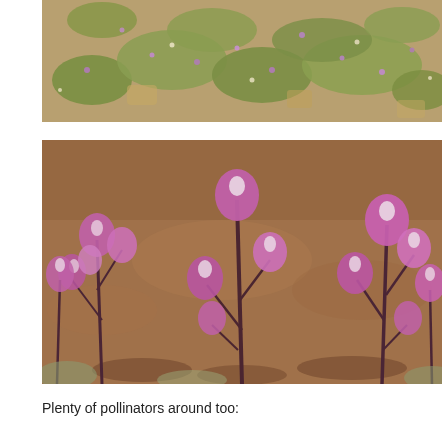[Figure (photo): Aerial/close-up view of low-growing plants with small purple and white flowers on sandy/dry ground, photographed from above.]
[Figure (photo): Close-up photograph of tall purple-pink flowering plants (appears to be a species like Castilleja or similar) with dark stems growing from sandy/clay soil ground.]
Plenty of pollinators around too: